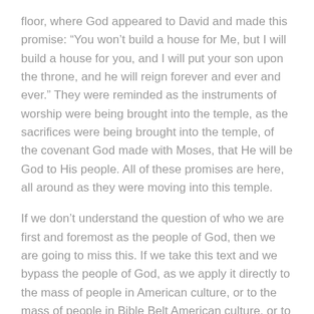floor, where God appeared to David and made this promise: “You won’t build a house for Me, but I will build a house for you, and I will put your son upon the throne, and he will reign forever and ever and ever.” They were reminded as the instruments of worship were being brought into the temple, as the sacrifices were being brought into the temple, of the covenant God made with Moses, that He will be God to His people. All of these promises are here, all around as they were moving into this temple.
If we don’t understand the question of who we are first and foremost as the people of God, then we are going to miss this. If we take this text and we bypass the people of God, as we apply it directly to the mass of people in American culture, or to the mass of people in Bible Belt American culture, or to the mass of people in any culture in any civilization—as though we are existing as